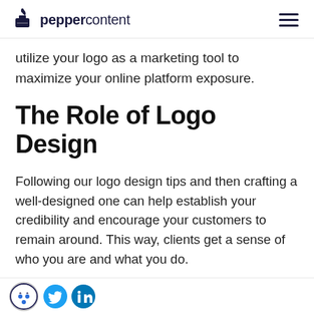peppercontent
utilize your logo as a marketing tool to maximize your online platform exposure.
The Role of Logo Design
Following our logo design tips and then crafting a well-designed one can help establish your credibility and encourage your customers to remain around. This way, clients get a sense of who you are and what you do.
A logo tells customers who have no previous
[Figure (logo): Cookie consent icon, Twitter bird icon, and LinkedIn icon in the bottom bar]